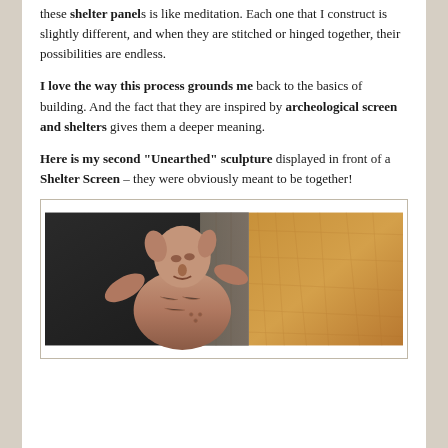these shelter panels is like meditation. Each one that I construct is slightly different, and when they are stitched or hinged together, their possibilities are endless.
I love the way this process grounds me back to the basics of building. And the fact that they are inspired by archeological screen and shelters gives them a deeper meaning.
Here is my second “Unearthed” sculpture displayed in front of a Shelter Screen – they were obviously meant to be together!
[Figure (photo): A ceramic/clay sculpture of a human-like figure with raised arms displayed in front of a textured shelter screen panel. The sculpture has a face with closed eyes and appears to be inspired by archeological forms. The background shows a patchwork-textured golden/orange panel on the right and dark background on the left.]